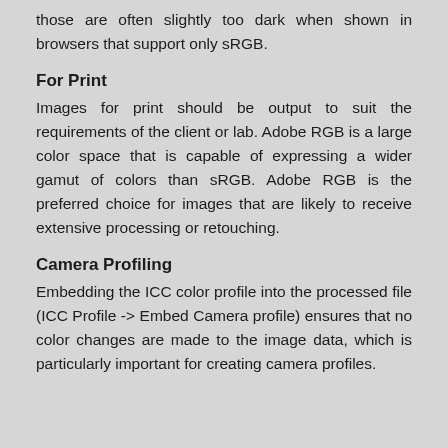those are often slightly too dark when shown in browsers that support only sRGB.
For Print
Images for print should be output to suit the requirements of the client or lab. Adobe RGB is a large color space that is capable of expressing a wider gamut of colors than sRGB. Adobe RGB is the preferred choice for images that are likely to receive extensive processing or retouching.
Camera Profiling
Embedding the ICC color profile into the processed file (ICC Profile -> Embed Camera profile) ensures that no color changes are made to the image data, which is particularly important for creating camera profiles.